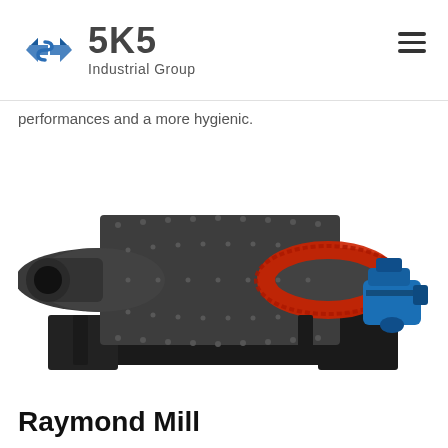[Figure (logo): SKS Industrial Group logo with diamond/arrow blue icon and bold SKS text with Industrial Group subtitle]
performances and a more hygienic.
[Figure (photo): Industrial ball mill machine with dark grey cylindrical drum covered in bolts/studs, red gear ring, blue motor on right side, black base frame]
Raymond Mill